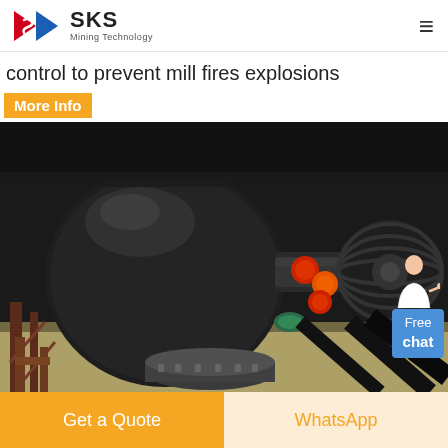SKS Mining Technology
control to prevent mill fires explosions
More Info
[Figure (photo): Close-up photograph of industrial mining mill machinery components, showing large black metal housing, drive shaft, and colorful pipe fittings (red, orange) in a factory setting]
Free chat
Get a Quote
WhatsApp